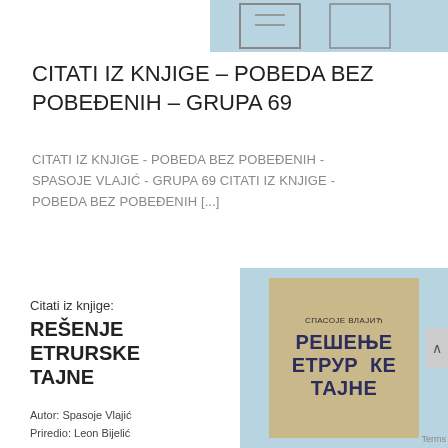[Figure (illustration): Top portion of a book card/thumbnail image, partially visible at the top of the page — appears to be a light blue/gray card background with a book cover partially shown.]
CITATI IZ KNJIGE – POBEDA BEZ POBEĐENIH – GRUPA 69
CITATI IZ KNJIGE - POBEDA BEZ POBEĐENIH - SPASOJE VLAJIĆ - GRUPA 69 CITATI IZ KNJIGE - POBEDA BEZ POBEĐENIH [...]
[Figure (illustration): A book listing card with light blue background on the right side showing a book cover titled РЕШЕЊЕ ЕТРУРСКЕ ТАЈНЕ by СПАСОЈЕ ВЛАЈИЋ. Left side shows text: Citati iz knjige: REŠENJE ETRURSKE TAJNE, Autor: Spasoje Vlajić, Priredio: Leon Bijelić.]